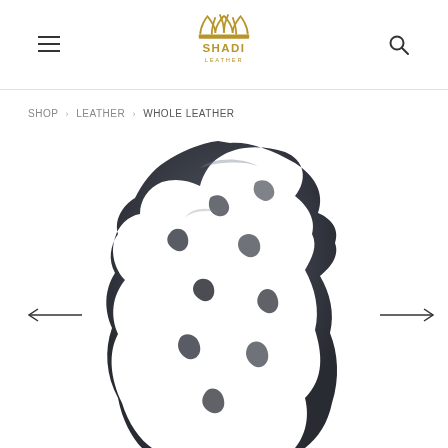Shadi Leather — navigation header with hamburger menu, logo, and search icon
SHOP › LEATHER › WHOLE LEATHER
[Figure (photo): A dark navy/charcoal textured whole leather hide piece displayed on a white background, showing natural grain and irregular edges. The leather has a mottled, bumpy surface texture with irregular cutouts and organic shape.]
← (left navigation arrow) and → (right navigation arrow)